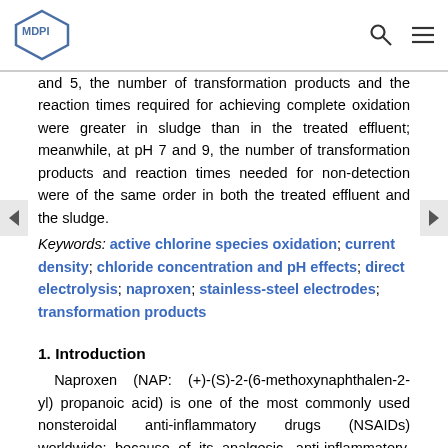MDPI
and 5, the number of transformation products and the reaction times required for achieving complete oxidation were greater in sludge than in the treated effluent; meanwhile, at pH 7 and 9, the number of transformation products and reaction times needed for non-detection were of the same order in both the treated effluent and the sludge.
Keywords: active chlorine species oxidation; current density; chloride concentration and pH effects; direct electrolysis; naproxen; stainless-steel electrodes; transformation products
1. Introduction
Naproxen (NAP: (+)-(S)-2-(6-methoxynaphthalen-2-yl) propanoic acid) is one of the most commonly used nonsteroidal anti-inflammatory drugs (NSAIDs) worldwide; because of its analgesic, anti-inflammatory, and antipyretic properties, it is normally used to treat fever and acute pain [1,2,3]. After being metabolized by the liver, about 90–95% of the taken dose is